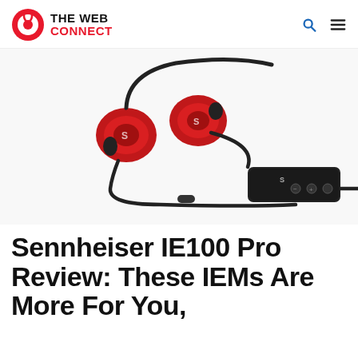THE WEB CONNECT
[Figure (photo): Sennheiser IE100 Pro in-ear monitors (red) shown with cable and inline remote/control unit on white background]
Sennheiser IE100 Pro Review: These IEMs Are More For You,